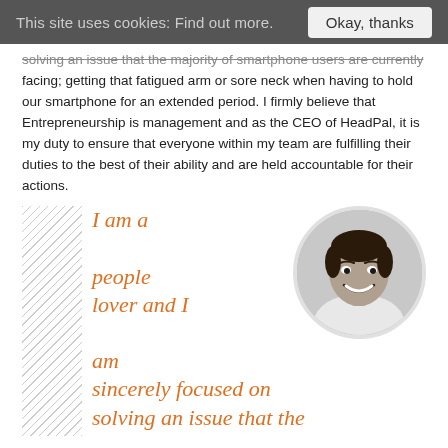This site uses cookies: Find out more.   Okay, thanks
solving an issue that the majority of smartphone users are currently facing; getting that fatigued arm or sore neck when having to hold our smartphone for an extended period. I firmly believe that Entrepreneurship is management and as the CEO of HeadPal, it is my duty to ensure that everyone within my team are fulfilling their duties to the best of their ability and are held accountable for their actions.
[Figure (photo): Circular black and white portrait photo of a smiling young man]
I am a people lover and I am sincerely focused on solving an issue that the